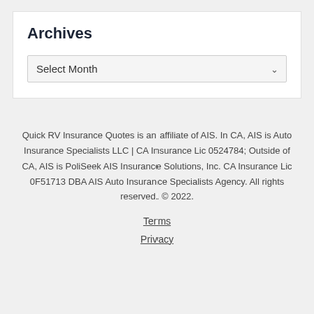Archives
Quick RV Insurance Quotes is an affiliate of AIS. In CA, AIS is Auto Insurance Specialists LLC | CA Insurance Lic 0524784; Outside of CA, AIS is PoliSeek AIS Insurance Solutions, Inc. CA Insurance Lic 0F51713 DBA AIS Auto Insurance Specialists Agency. All rights reserved. © 2022.
Terms
Privacy